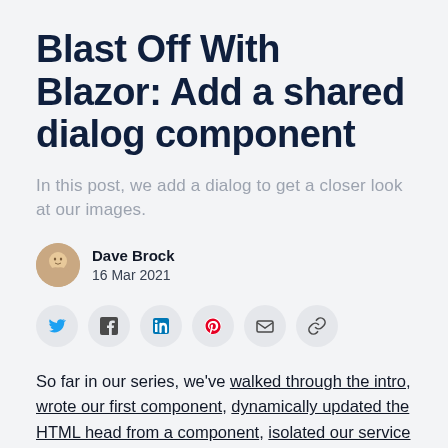Blast Off With Blazor: Add a shared dialog component
In this post, we add a dialog to get a closer look at our images.
Dave Brock
16 Mar 2021
[Figure (infographic): Social share buttons row: Twitter, Facebook, LinkedIn, Pinterest, Email, Link]
So far in our series, we've walked through the intro, wrote our first component, dynamically updated the HTML head from a component, isolated our service dependencies, worked on hosting our images over Azure Blob Storage and